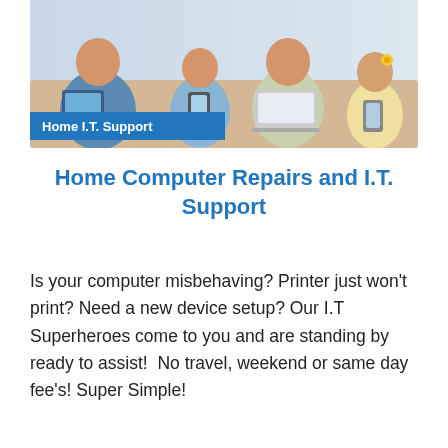[Figure (photo): Family sitting on a couch using various devices — an adult holding a tablet, a boy with a smartphone, a woman with a laptop, and a girl with a phone. A blue banner overlay reads 'Home I.T. Support'.]
Home Computer Repairs and I.T. Support
Is your computer misbehaving? Printer just won't print? Need a new device setup? Our I.T Superheroes come to you and are standing by ready to assist!  No travel, weekend or same day fee's! Super Simple!